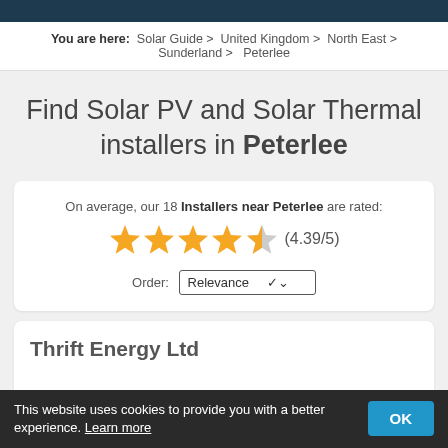You are here: Solar Guide > United Kingdom > North East > Sunderland > Peterlee
Find Solar PV and Solar Thermal installers in Peterlee
On average, our 18 Installers near Peterlee are rated: (4.39/5)
Order: Relevance
Thrift Energy Ltd
This website uses cookies to provide you with a better experience. Learn more